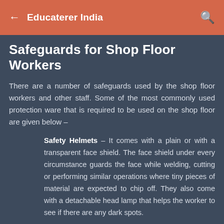Educaterer India
Safeguards for Shop Floor Workers
There are a number of safeguards used by the shop floor workers and other staff. Some of the most commonly used protection ware that is required to be used on the shop floor are given below –
Safety Helmets – It comes with a plain or with a transparent face shield. The face shield under every circumstance guards the face while welding, cutting or performing similar operations where tiny pieces of material are expected to chip off. They also come with a detachable head lamp that helps the worker to see if there are any dark spots.
Safety Shoes – They come with closed toes and a thick sole, which make the grip of the feet firm